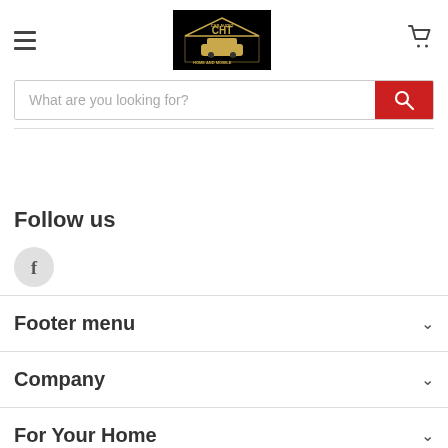[Figure (logo): CHT Car Audio logo — black background with gold text]
[Figure (other): Shopping cart icon in dark gray]
What are you looking for?
Follow us
[Figure (other): Facebook icon — gray circle with letter f]
Footer menu
Company
For Your Home